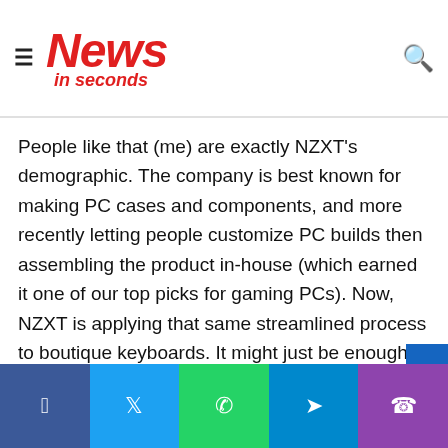News in seconds
People like that (me) are exactly NZXT's demographic. The company is best known for making PC cases and components, and more recently letting people customize PC builds then assembling the product in-house (which earned it one of our top picks for gaming PCs). Now, NZXT is applying that same streamlined process to boutique keyboards. It might just be enough to get me to care about which switches are inside my board.
Hardware for Everyone
So what exactly is a switch? It's the mechanism underneath
Facebook | Twitter | WhatsApp | Telegram | Phone